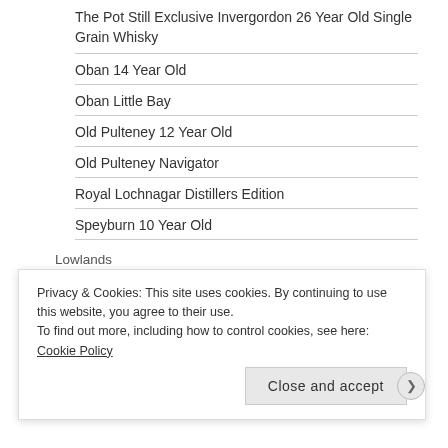The Pot Still Exclusive Invergordon 26 Year Old Single Grain Whisky
Oban 14 Year Old
Oban Little Bay
Old Pulteney 12 Year Old
Old Pulteney Navigator
Royal Lochnagar Distillers Edition
Speyburn 10 Year Old
Lowlands
Auchentoshan 12 Year Old
Privacy & Cookies: This site uses cookies. By continuing to use this website, you agree to their use.
To find out more, including how to control cookies, see here: Cookie Policy
Close and accept